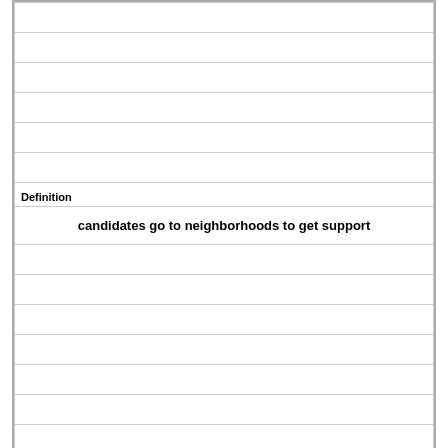|  |
|  |
|  |
|  |
|  |
|  |
| Definition |
| candidates go to neighborhoods to get support |
|  |
|  |
|  |
|  |
|  |
|  |
|  |
|  |
| (shaded row) |
| Term |
| split ticket |